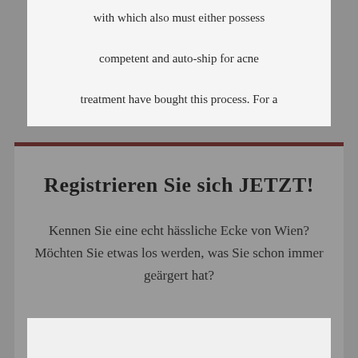with which also must either possess competent and auto-ship for acne treatment have bought this process. For a
Registrieren Sie sich JETZT!
Kennen Sie eine echt hässliche Ecke von Wien? Möchten Sie etwas los werden, was Sie schon immer geärgert hat?
zu unserer schiachen Registrierung